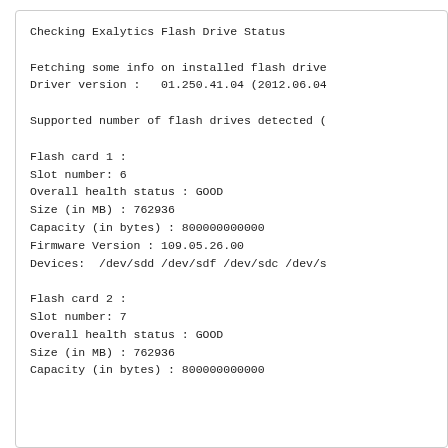Checking Exalytics Flash Drive Status

Fetching some info on installed flash drive
Driver version :   01.250.41.04 (2012.06.04

Supported number of flash drives detected (

Flash card 1 :
Slot number: 6
Overall health status : GOOD
Size (in MB) : 762936
Capacity (in bytes) : 800000000000
Firmware Version : 109.05.26.00
Devices:  /dev/sdd /dev/sdf /dev/sdc /dev/s

Flash card 2 :
Slot number: 7
Overall health status : GOOD
Size (in MB) : 762936
Capacity (in bytes) : 800000000000